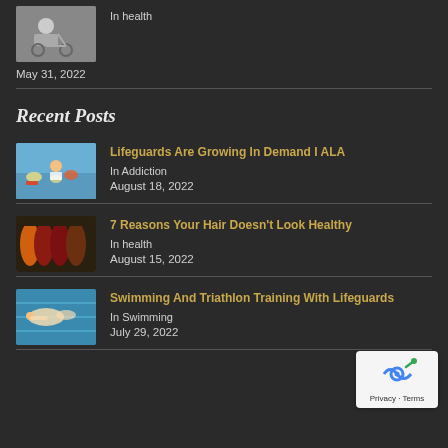[Figure (photo): Thumbnail image of a wheelchair]
In health
May 31, 2022
Recent Posts
[Figure (photo): Lifeguard at a pool with children on floats]
Lifeguards Are Growing In Demand I ALA
In Addiction
August 18, 2022
[Figure (photo): Four hair wigs in different colors: orange, auburn, dark red, brown]
7 Reasons Your Hair Doesn't Look Healthy
In health
August 15, 2022
[Figure (photo): Person swimming laps in a pool]
Swimming And Triathlon Training With Lifeguards
In Swimming
July 29, 2022